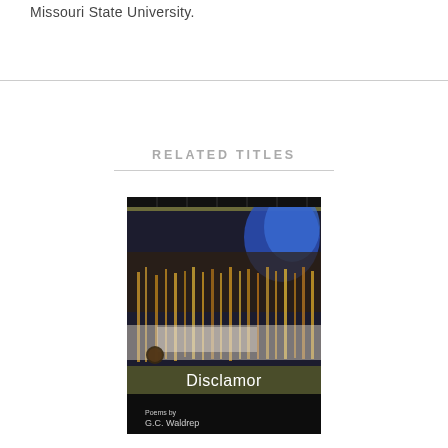Missouri State University.
RELATED TITLES
[Figure (illustration): Book cover of 'Disclamor: Poems by G.C. Waldrep', showing an abstract painting with dark, reflective imagery — deep blue and black at top, golden and white abstract streaks resembling reeds or grass reflected in water in the middle, a dark band with 'Disclamor' in white text, and a black lower section with 'Poems by G.C. Waldrep' in small white text.]